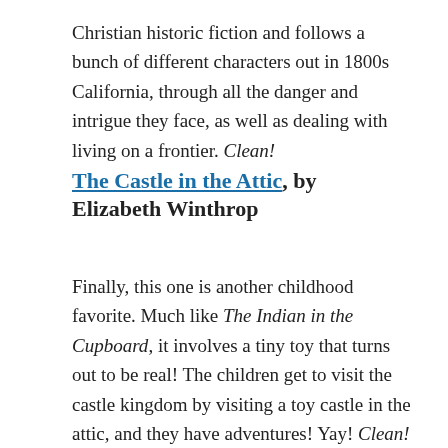Christian historic fiction and follows a bunch of different characters out in 1800s California, through all the danger and intrigue they face, as well as dealing with living on a frontier. Clean!
The Castle in the Attic, by Elizabeth Winthrop
Finally, this one is another childhood favorite. Much like The Indian in the Cupboard, it involves a tiny toy that turns out to be real! The children get to visit the castle kingdom by visiting a toy castle in the attic, and they have adventures! Yay! Clean!